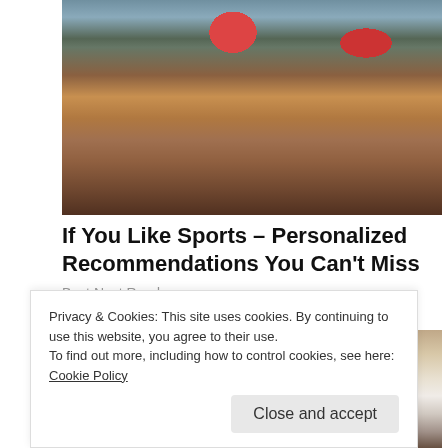[Figure (photo): Baseball players on a field, pitcher mid-throw with red socks, catcher and other players visible, stadium crowd in background]
If You Like Sports – Personalized Recommendations You Can't Miss
Best Next Read
[Figure (photo): Woman in white blouse and blue skirt seated, legs visible, hands on knee]
Privacy & Cookies: This site uses cookies. By continuing to use this website, you agree to their use.
To find out more, including how to control cookies, see here: Cookie Policy
Close and accept